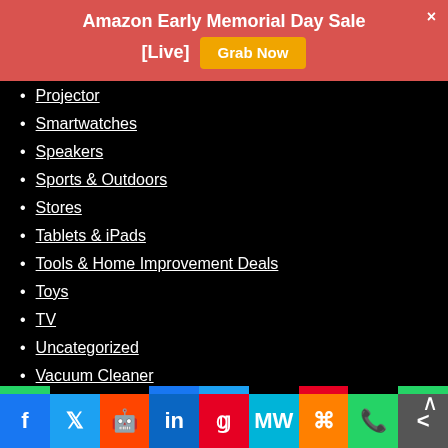[Figure (infographic): Red promotional banner with white bold text 'Amazon Early Memorial Day Sale [Live]' and an orange 'Grab Now' button. A white × close button appears top-right.]
Projector
Smartwatches
Speakers
Sports & Outdoors
Stores
Tablets & iPads
Tools & Home Improvement Deals
Toys
TV
Uncategorized
Vacuum Cleaner
[Figure (infographic): Social media share bar with icons for Facebook, Twitter, Reddit, LinkedIn, Pinterest, MixW, Mix, WhatsApp, and More.]